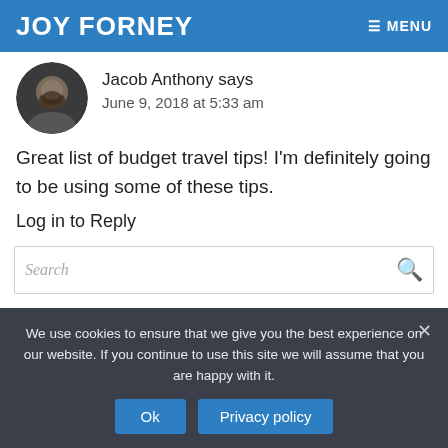JOY FORNEY  MENU
[Figure (photo): Circular avatar photo of Jacob Anthony, a man with a beard]
Jacob Anthony says
June 9, 2018 at 5:33 am
Great list of budget travel tips! I'm definitely going to be using some of these tips.
Log in to Reply
Search
We use cookies to ensure that we give you the best experience on our website. If you continue to use this site we will assume that you are happy with it.
Ok  Privacy policy